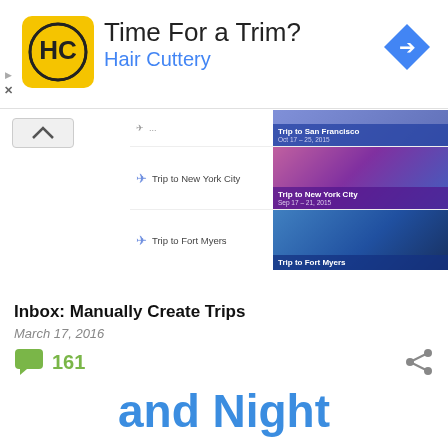[Figure (screenshot): Advertisement banner for Hair Cuttery: 'Time For a Trim?' with HC logo in yellow circle, blue navigation arrow icon on right, and small play/close controls on left]
[Figure (screenshot): Mobile app screenshot showing trip list with three entries: Trip to San Francisco (Oct 17-25, 2015), Trip to New York City (Sep 17-21, 2015), Trip to Fort Myers. Each row has airplane icon, text label, and thumbnail image with overlay text.]
Inbox: Manually Create Trips
March 17, 2016
161
and Night